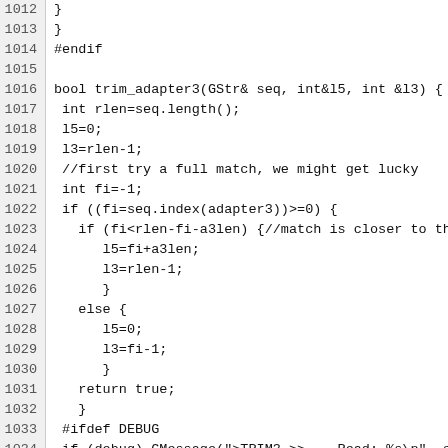1012 ...
1013 }
1014 #endif
1015
1016 bool trim_adapter3(GStr& seq, int&l5, int &l3) {
1017  int rlen=seq.length();
1018  l5=0;
1019  l3=rlen-1;
1020  //first try a full match, we might get lucky
1021  int fi=-1;
1022  if ((fi=seq.index(adapter3))>=0) {
1023    if (fi<rlen-fi-a3len) {//match is closer to the
1024      l5=fi+a3len;
1025      l3=rlen-1;
1026      }
1027    else {
1028      l5=0;
1029      l3=fi-1;
1030      }
1031    return true;
1032    }
1033  #ifdef DEBUG
1034  if (debug) GMessage(">TRIM3 >>    Read: %s\n", seq.